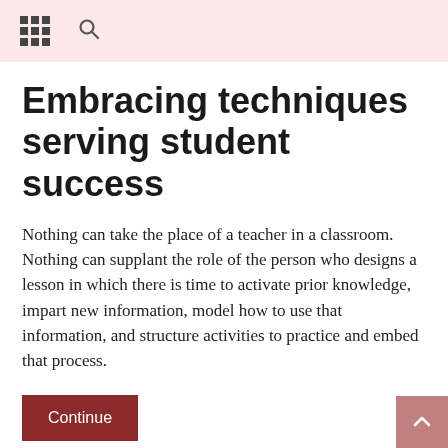[grid icon] [search icon]
Embracing techniques serving student success
Nothing can take the place of a teacher in a classroom. Nothing can supplant the role of the person who designs a lesson in which there is time to activate prior knowledge, impart new information, model how to use that information, and structure activities to practice and embed that process.
Continue
Be Amazing in 2018, Blended